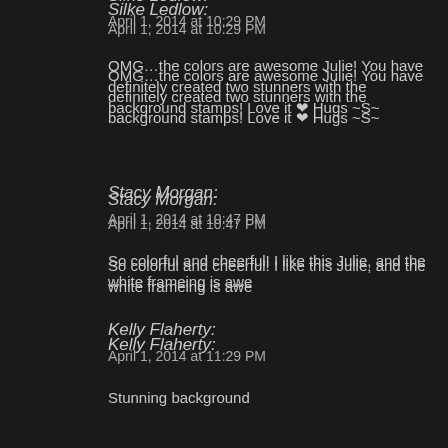Silke Ledlow:
April 1, 2014 at 10:29 PM
OMG…the colors are awesome Julie! You have definitely created two stunners with the background stamps! Love it ❤ Hugs ~S~
Stacy Morgan:
April 1, 2014 at 10:47 PM
So colorful and cheerful! I like this Julie, and the white frameing is awe
Kelly Flaherty:
April 1, 2014 at 11:29 PM
Stunning background
Sherry Lowmaster:
April 2, 2014 at 12:31 AM
very pretty love the rainbow effect on the designer paper!!
Karen Schroeder:
April 2, 2014 at 2:11 AM
Your card is simply amazing! Love it!